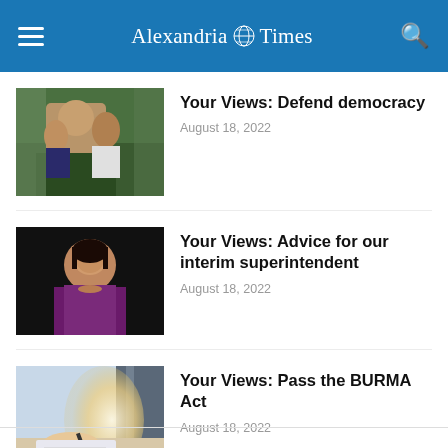Alexandria Times
Your Views: Defend democracy
August 18, 2022
Your Views: Advice for our interim superintendent
August 18, 2022
Your Views: Pass the BURMA Act
August 18, 2022